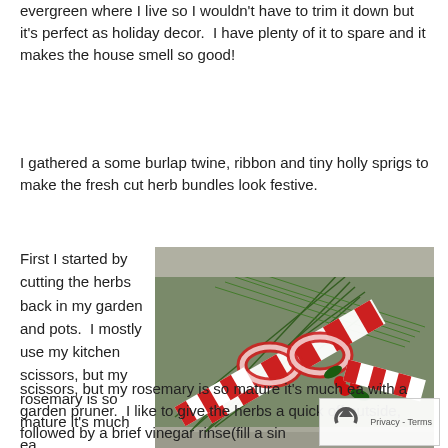evergreen where I live so I wouldn't have to trim it down but it's perfect as holiday decor.  I have plenty of it to spare and it makes the house smell so good!
I gathered a some burlap twine, ribbon and tiny holly sprigs to make the fresh cut herb bundles look festive.
First I started by cutting the herbs back in my garden and pots.  I mostly use my kitchen scissors, but my rosemary is so mature it's much ea
[Figure (photo): Fresh cut herb bundles tied with a red and white striped ribbon with holly sprigs, arranged on a stone surface.]
scissors, but my rosemary is so mature it's much ea with a garden pruner.  I like to give the herbs a quick off outside, followed by a brief vinegar rinse(fill a sin